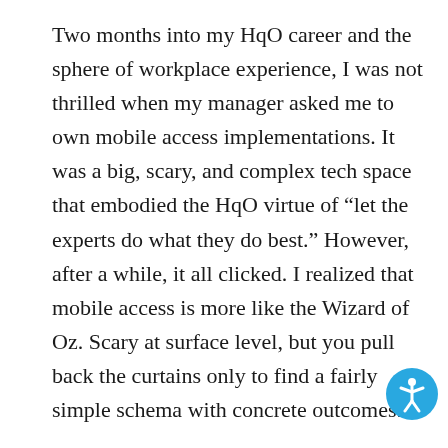Two months into my HqO career and the sphere of workplace experience, I was not thrilled when my manager asked me to own mobile access implementations. It was a big, scary, and complex tech space that embodied the HqO virtue of “let the experts do what they do best.” However, after a while, it all clicked. I realized that mobile access is more like the Wizard of Oz. Scary at surface level, but you pull back the curtains only to find a fairly simple schema with concrete outcomes.
How did I pull back that curtain? By piecing together conversations with amazing engineers, partners, clients, and integrators
[Figure (illustration): Accessibility icon: blue circle with white stick figure person with arms raised]